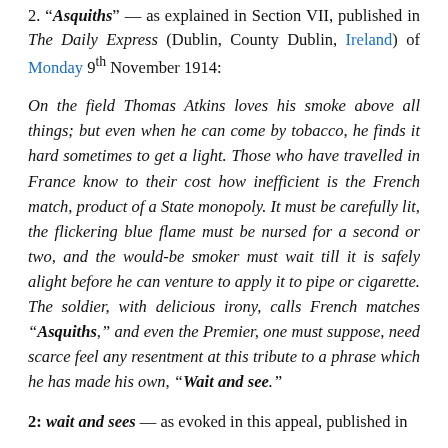2. "Asquiths" — as explained in Section VII, published in The Daily Express (Dublin, County Dublin, Ireland) of Monday 9th November 1914:
On the field Thomas Atkins loves his smoke above all things; but even when he can come by tobacco, he finds it hard sometimes to get a light. Those who have travelled in France know to their cost how inefficient is the French match, product of a State monopoly. It must be carefully lit, the flickering blue flame must be nursed for a second or two, and the would-be smoker must wait till it is safely alight before he can venture to apply it to pipe or cigarette. The soldier, with delicious irony, calls French matches "Asquiths," and even the Premier, one must suppose, need scarce feel any resentment at this tribute to a phrase which he has made his own, "Wait and see."
2: wait and sees — as evoked in this appeal, published in